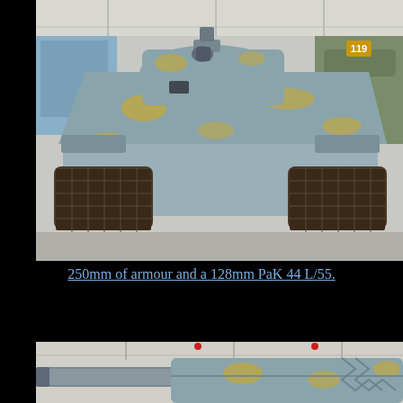[Figure (photo): Front view of a large German WWII-era tank (Maus or similar superheavy tank) displayed in a museum. The tank is painted grey-blue with yellow camouflage patches. Visible are the massive front hull, wide tracks, sloped armor, turret with a large gun barrel, and other tanks visible in the background of a large indoor museum hall.]
250mm of armour and a 128mm PaK 44 L/55.
[Figure (photo): Close-up side/front view of the same tank showing the long 128mm gun barrel extending from the turret, with the grey-blue and yellow camouflage paint visible on the turret side. Museum interior visible in background.]